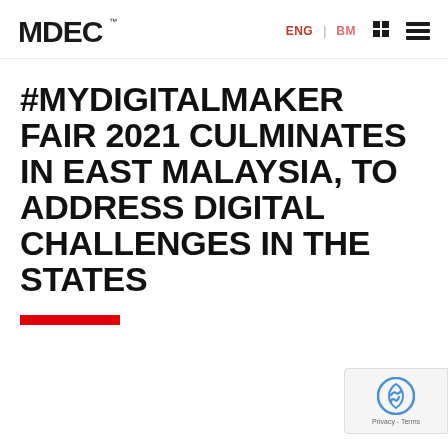MDEC | ENG | BM
#MYDIGITALMAKER FAIR 2021 CULMINATES IN EAST MALAYSIA, TO ADDRESS DIGITAL CHALLENGES IN THE STATES
[Figure (logo): reCAPTCHA badge with shield icon and Privacy - Terms text]